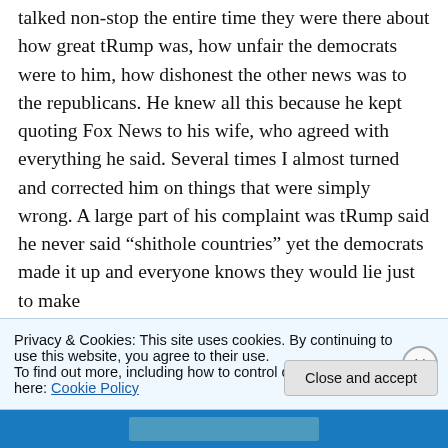talked non-stop the entire time they were there about how great tRump was, how unfair the democrats were to him, how dishonest the other news was to the republicans. He knew all this because he kept quoting Fox News to his wife, who agreed with everything he said. Several times I almost turned and corrected him on things that were simply wrong. A large part of his complaint was tRump said he never said “shithole countries” yet the democrats made it up and everyone knows they would lie just to make
Privacy & Cookies: This site uses cookies. By continuing to use this website, you agree to their use.
To find out more, including how to control cookies, see here: Cookie Policy
Close and accept